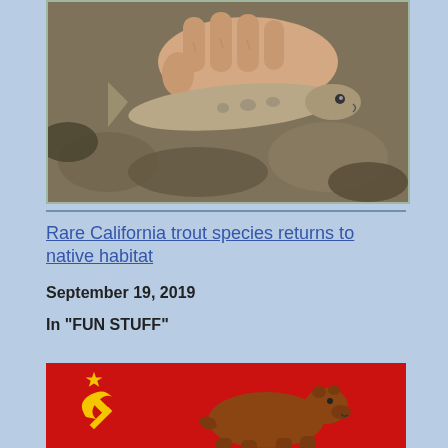[Figure (photo): Hand holding a trout fish over a rocky stream/riverbed background]
Rare California trout species returns to native habitat
September 19, 2019
In "FUN STUFF"
[Figure (illustration): Red flag combining Soviet hammer and sickle symbol with California grizzly bear - a mashup of Soviet flag and California state flag]